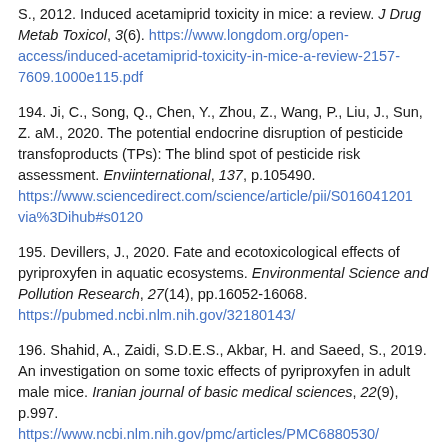S., 2012. Induced acetamiprid toxicity in mice: a review. J Drug Metab Toxicol, 3(6). https://www.longdom.org/open-access/induced-acetamiprid-toxicity-in-mice-a-review-2157-7609.1000e115.pdf
194. Ji, C., Song, Q., Chen, Y., Zhou, Z., Wang, P., Liu, J., Sun, Z. and M., 2020. The potential endocrine disruption of pesticide transformation products (TPs): The blind spot of pesticide risk assessment. Environment international, 137, p.105490. https://www.sciencedirect.com/science/article/pii/S016041201 via%3Dihub#s0120
195. Devillers, J., 2020. Fate and ecotoxicological effects of pyriproxyfen in aquatic ecosystems. Environmental Science and Pollution Research, 27(14), pp.16052-16068. https://pubmed.ncbi.nlm.nih.gov/32180143/
196. Shahid, A., Zaidi, S.D.E.S., Akbar, H. and Saeed, S., 2019. An investigation on some toxic effects of pyriproxyfen in adult male mice. Iranian journal of basic medical sciences, 22(9), p.997. https://www.ncbi.nlm.nih.gov/pmc/articles/PMC6880530/
197. Chen, Y.W., Wu, P.S., Yang, E.C., Nai, Y.S. and Huang, Z.Y., 20 impact of pyriproxyfen on the development of honey bee (Apis colony in field. Journal of Asia-Pacific Entomology, 19(3), pp.589-5